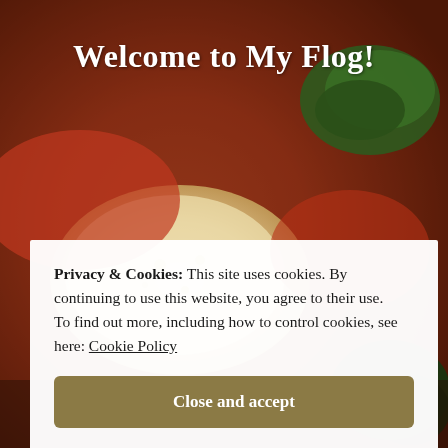[Figure (photo): Close-up photo of food (appears to be a caprese salad or similar dish with tomato, mozzarella, and basil) with a dark brownish-red overlay tint, serving as a background image for the webpage.]
Welcome to My Flog!
Privacy & Cookies: This site uses cookies. By continuing to use this website, you agree to their use. To find out more, including how to control cookies, see here: Cookie Policy
Close and accept